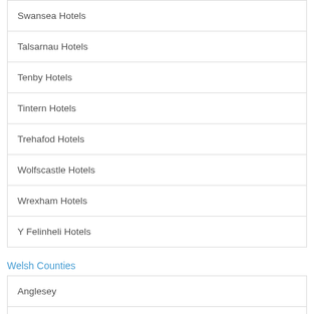Swansea Hotels
Talsarnau Hotels
Tenby Hotels
Tintern Hotels
Trehafod Hotels
Wolfscastle Hotels
Wrexham Hotels
Y Felinheli Hotels
Welsh Counties
Anglesey
Bridgend County
Cardiff